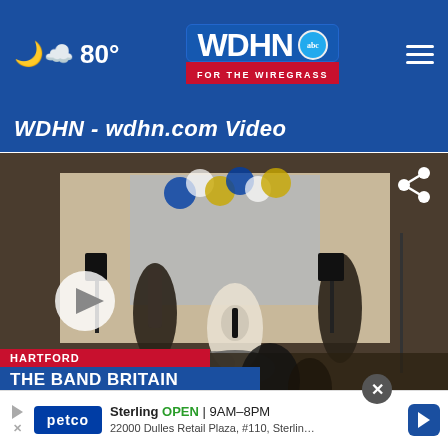WDHN ABC FOR THE WIREGRASS — 80°
WDHN - wdhn.com Video
[Figure (screenshot): Video player screenshot showing a band performing on stage with drums and guitars. Lower third overlay reads 'HARTFORD / THE BAND BRITAIN / THE FAB FOUR'. A play button is visible on the left and a share icon on the upper right.]
[Figure (screenshot): Petco advertisement banner: Sterling OPEN 9AM-8PM, 22000 Dulles Retail Plaza, #110, Sterling]